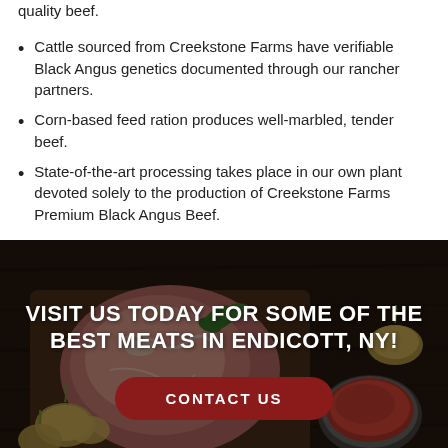quality beef.
Cattle sourced from Creekstone Farms have verifiable Black Angus genetics documented through our rancher partners.
Corn-based feed ration produces well-marbled, tender beef.
State-of-the-art processing takes place in our own plant devoted solely to the production of Creekstone Farms Premium Black Angus Beef.
[Figure (photo): Photo of raw meat cuts with onions and tomato sauce on a dark wooden board background, with overlay text 'VISIT US TODAY FOR SOME OF THE BEST MEATS IN ENDICOTT, NY!' and a dark red 'CONTACT US' button]
About